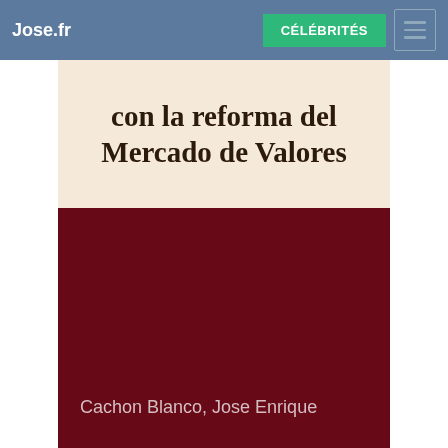Jose.fr
[Figure (photo): Book cover showing title 'con la reforma del Mercado de Valores' on a cream/beige top section and a dark red/maroon bottom section with author name 'Cachon Blanco, Jose Enrique']
con la reforma del Mercado de Valores
Cachon Blanco, Jose Enrique